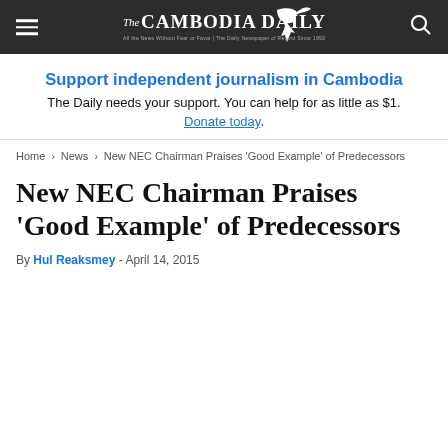The Cambodia Daily
Support independent journalism in Cambodia
The Daily needs your support. You can help for as little as $1.
Donate today.
Home › News › New NEC Chairman Praises 'Good Example' of Predecessors
New NEC Chairman Praises 'Good Example' of Predecessors
By Hul Reaksmey - April 14, 2015